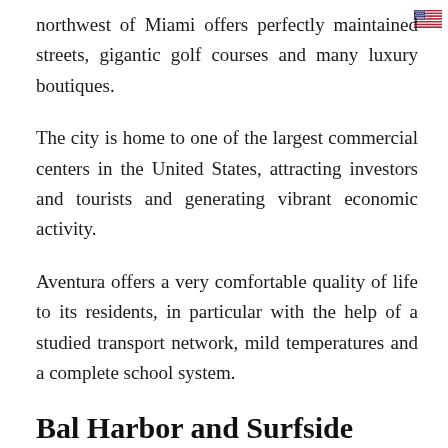northwest of Miami offers perfectly maintained streets, gigantic golf courses and many luxury boutiques.
The city is home to one of the largest commercial centers in the United States, attracting investors and tourists and generating vibrant economic activity.
Aventura offers a very comfortable quality of life to its residents, in particular with the help of a studied transport network, mild temperatures and a complete school system.
Bal Harbor and Surfside